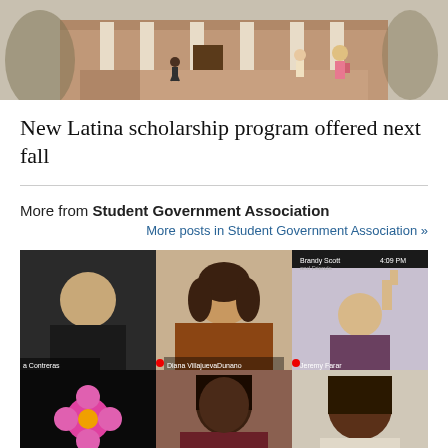[Figure (photo): Campus photo showing students walking on a brick path in front of a university building with columns, taken from behind]
New Latina scholarship program offered next fall
More from Student Government Association
More posts in Student Government Association »
[Figure (screenshot): Screenshot of a video conference call showing 6 participants in a grid layout: a young man smiling, a young woman with curly hair, a person waving, a slot showing a pink flower, a young Black woman, and a young Black woman smiling; plus partial views of more participants at the bottom]